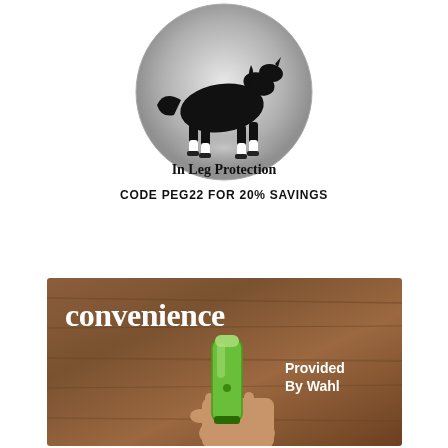[Figure (illustration): Circular metallic badge showing a black horse silhouette with white leg wraps, text 'In Leg Protection' in black serif font on silver background]
CODE PEG22 FOR 20% SAVINGS
[Figure (photo): Photo advertisement with warm wood-panel background showing a hand holding a green Wahl cordless clipper/trimmer. White text reads 'convenience' in large serif font and 'Provided By Wahl' in smaller white text.]